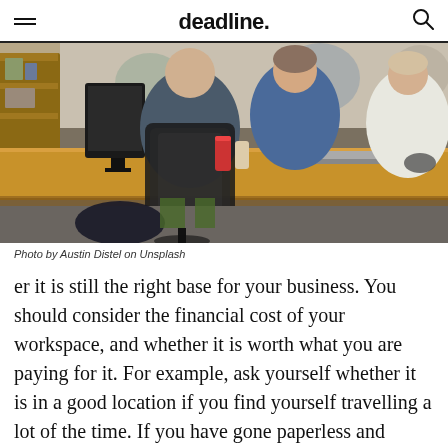deadline.
[Figure (photo): Office scene with people sitting around a wooden desk with computers, keyboards, and drinks. Shot from behind showing people in casual clothing in a modern open office environment.]
Photo by Austin Distel on Unsplash
er it is still the right base for your business. You should consider the financial cost of your workspace, and whether it is worth what you are paying for it. For example, ask yourself whether it is in a good location if you find yourself travelling a lot of the time. If you have gone paperless and therefore do not need as much storage space, then you could downsize or even work f...